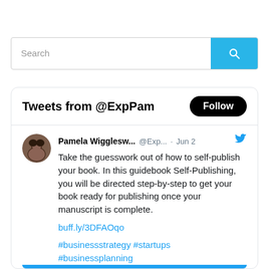[Figure (screenshot): Search bar with text input 'Search' and blue search button with magnifying glass icon]
Tweets from @ExpPam
Pamela Wigglesw... @Exp... · Jun 2
Take the guesswork out of how to self-publish your book. In this guidebook Self-Publishing, you will be directed step-by-step to get your book ready for publishing once your manuscript is complete.
buff.ly/3DFAOqo
#businessstrategy #startups #businessplanning